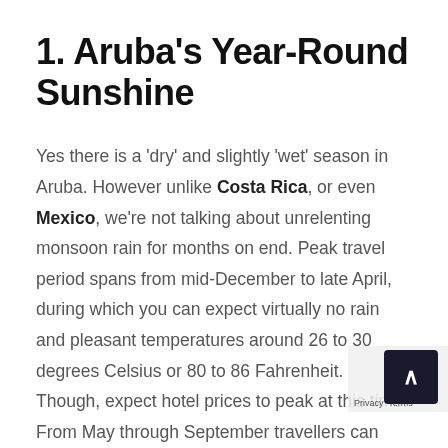1. Aruba's Year-Round Sunshine
Yes there is a ‘dry’ and slightly ‘wet’ season in Aruba. However unlike Costa Rica, or even Mexico, we’re not talking about unrelenting monsoon rain for months on end. Peak travel period spans from mid-December to late April, during which you can expect virtually no rain and pleasant temperatures around 26 to 30 degrees Celsius or 80 to 86 Fahrenheit. Though, expect hotel prices to peak at this time. From May through September travellers can expect significantly lower prices and slightly warmer